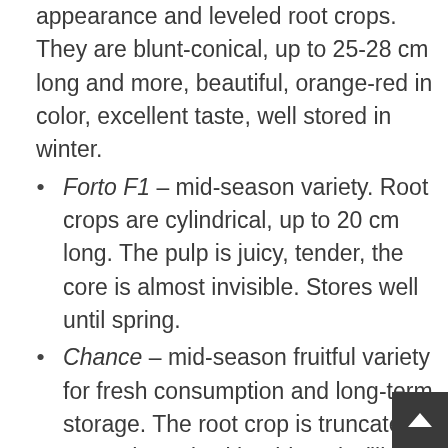appearance and leveled root crops. They are blunt-conical, up to 25-28 cm long and more, beautiful, orange-red in color, excellent taste, well stored in winter.
Forto F1 – mid-season variety. Root crops are cylindrical, up to 20 cm long. The pulp is juicy, tender, the core is almost invisible. Stores well until spring.
Chance – mid-season fruitful variety for fresh consumption and long-term storage. The root crop is truncated-cone-shaped, with a blunt tip (like Shantane), orange, with a large core, weighing up to 130 g. The pulp is dens ivity of good taste.